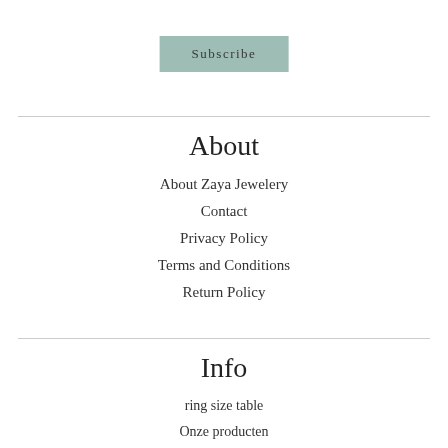Subscribe
About
About Zaya Jewelery
Contact
Privacy Policy
Terms and Conditions
Return Policy
Info
ring size table
Onze producten